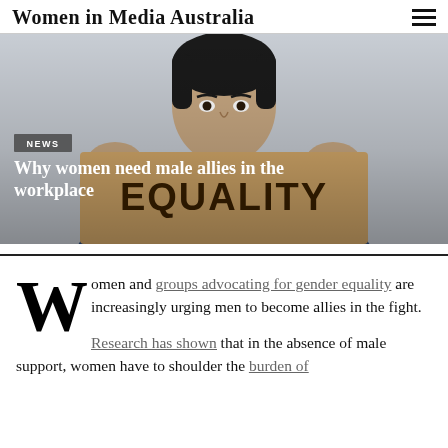Women in Media Australia
[Figure (photo): Man holding a cardboard sign that reads EQUALITY, with headline 'Why women need male allies in the workplace' overlaid. News tag visible.]
Why women need male allies in the workplace
Women and groups advocating for gender equality are increasingly urging men to become allies in the fight.
Research has shown that in the absence of male support, women have to shoulder the burden of